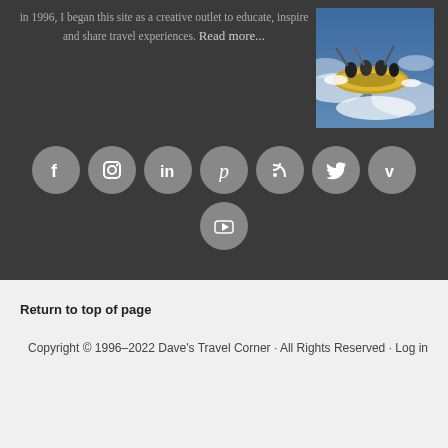in 1996, I began this site as a creative outlet to educate, inspire and share travel experiences. Read more...
[Figure (photo): Photo of people white-water rafting in a yellow raft through rapids]
[Figure (infographic): Row of social media icon circles: Facebook, Instagram, LinkedIn, Pinterest, RSS, Twitter, Vimeo, YouTube]
Return to top of page
Copyright © 1996–2022 Dave's Travel Corner · All Rights Reserved · Log in